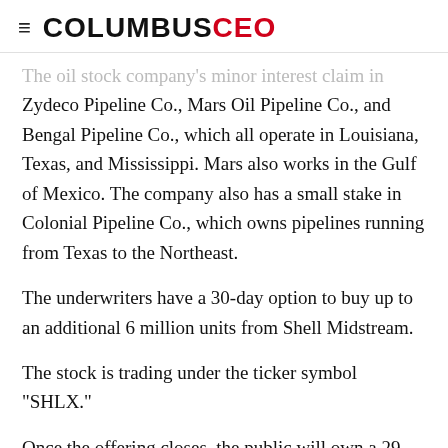COLUMBUSCEO
The oil stock company's minor interest claim in Zydeco Pipeline Co., Mars Oil Pipeline Co., and Bengal Pipeline Co., which all operate in Louisiana, Texas, and Mississippi. Mars also works in the Gulf of Mexico. The company also has a small stake in Colonial Pipeline Co., which owns pipelines running from Texas to the Northeast.
The underwriters have a 30-day option to buy up to an additional 6 million units from Shell Midstream.
The stock is trading under the ticker symbol "SHLX."
Once the offering closes, the public will own a 29